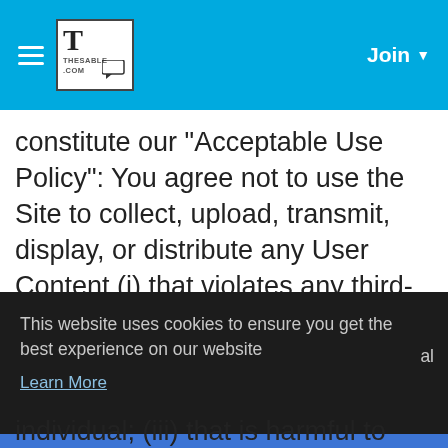Thesable.com — Join
constitute our "Acceptable Use Policy": You agree not to use the Site to collect, upload, transmit, display, or distribute any User Content (i) that violates any third-party right or any intellectual property or proprietary right; (ii) that is unlawful, harassing, abusive,
This website uses cookies to ensure you get the best experience on our website
Learn More
Got It!
individual; (iii) that is harmful to minors in